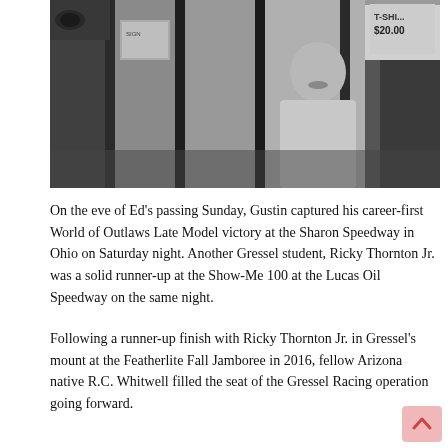[Figure (photo): Black and white photograph of a man with a mustache standing inside what appears to be a shop or store with glass panels and display signs visible. A small sign in the upper right reads 'T-SHI... $20.00'.]
On the eve of Ed's passing Sunday, Gustin captured his career-first World of Outlaws Late Model victory at the Sharon Speedway in Ohio on Saturday night. Another Gressel student, Ricky Thornton Jr. was a solid runner-up at the Show-Me 100 at the Lucas Oil Speedway on the same night.
Following a runner-up finish with Ricky Thornton Jr. in Gressel's mount at the Featherlite Fall Jamboree in 2016, fellow Arizona native R.C. Whitwell filled the seat of the Gressel Racing operation going forward.